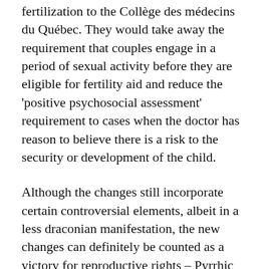fertilization to the Collège des médecins du Québec. They would take away the requirement that couples engage in a period of sexual activity before they are eligible for fertility aid and reduce the 'positive psychosocial assessment' requirement to cases when the doctor has reason to believe there is a risk to the security or development of the child.
Although the changes still incorporate certain controversial elements, albeit in a less draconian manifestation, the new changes can definitely be counted as a victory for reproductive rights – Pyrrhic as it may be.
Share this: